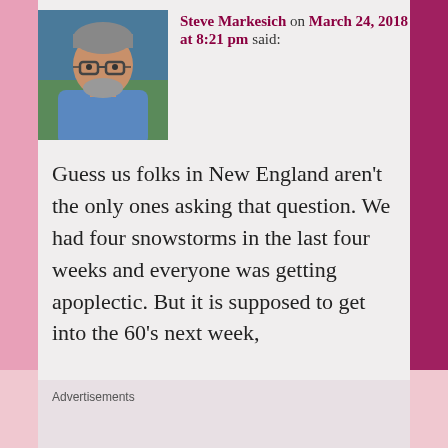[Figure (photo): Profile photo of Steve Markesich, a middle-aged man with glasses and gray beard wearing a blue shirt, outdoors]
Steve Markesich on March 24, 2018 at 8:21 pm said:
Guess us folks in New England aren't the only ones asking that question. We had four snowstorms in the last four weeks and everyone was getting apoplectic. But it is supposed to get into the 60's next week,
Advertisements